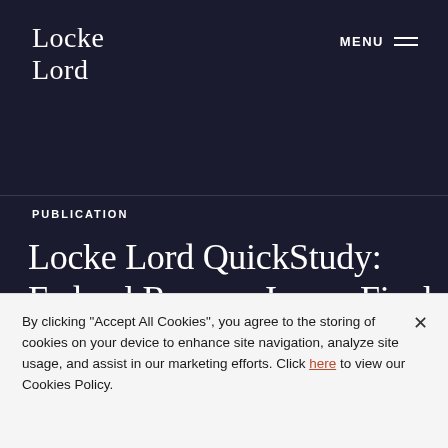Locke Lord
PUBLICATION
Locke Lord QuickStudy: Federal Reserve Issues Final Rule to Expand the Small BHC Policy Statement
By clicking "Accept All Cookies", you agree to the storing of cookies on your device to enhance site navigation, analyze site usage, and assist in our marketing efforts. Click here to view our Cookies Policy.